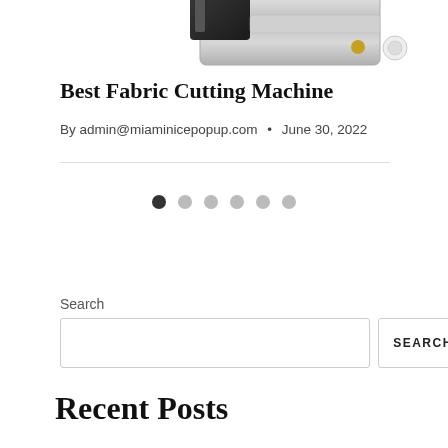[Figure (photo): Partial view of a fabric cutting machine — metallic body with black and chrome components visible at top of page]
Best Fabric Cutting Machine
By admin@miaminicepopup.com • June 30, 2022
[Figure (other): Carousel pagination dots — 6 dots, first one dark/active, remaining 5 light gray/inactive]
Search
[Figure (other): Search input field (empty) with a SEARCH button to the right]
Recent Posts